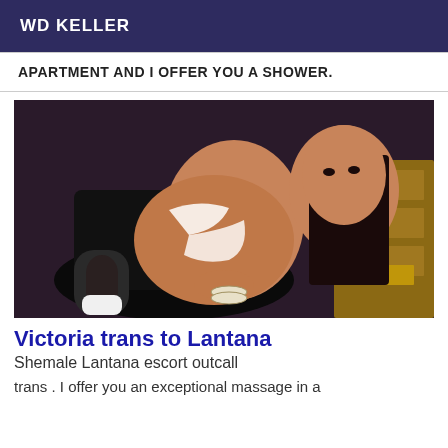WD KELLER
APARTMENT AND I OFFER YOU A SHOWER.
[Figure (photo): Woman in white lingerie and fishnet stockings posing on a dark chair with gold furniture in background]
Victoria trans to Lantana
Shemale Lantana escort outcall
trans . I offer you an exceptional massage in a